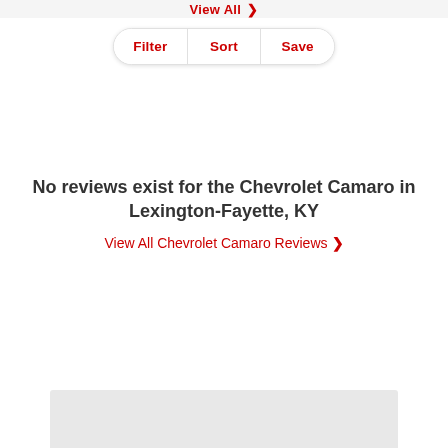View All >
Filter | Sort | Save
No reviews exist for the Chevrolet Camaro in Lexington-Fayette, KY
View All Chevrolet Camaro Reviews >
[Figure (other): Gray rectangular placeholder block at the bottom of the page]